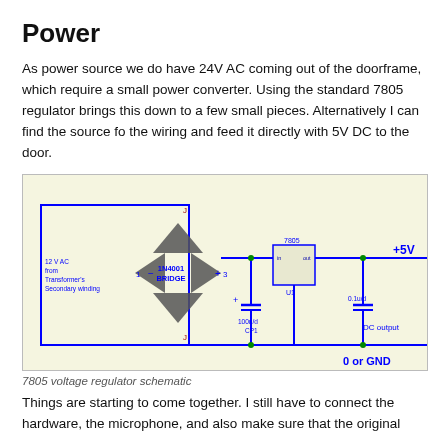Power
As power source we do have 24V AC coming out of the doorframe, which require a small power converter. Using the standard 7805 regulator brings this down to a few small pieces. Alternatively I can find the source fo the wiring and feed it directly with 5V DC to the door.
[Figure (circuit-diagram): 7805 voltage regulator schematic showing 12V AC from Transformer's Secondary winding, 1N4001 BRIDGE rectifier, 100ufd capacitor (CP1), 7805 voltage regulator (U1), 0.1ufd capacitor, +5V output, DC output label, and 0 or GND label.]
7805 voltage regulator schematic
Things are starting to come together. I still have to connect the hardware, the microphone, and also make sure that the original